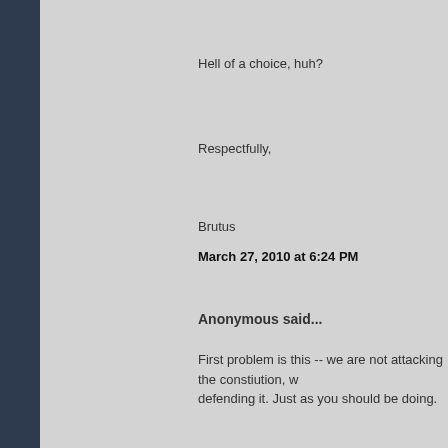Hell of a choice, huh?
Respectfully,
Brutus
March 27, 2010 at 6:24 PM
Anonymous said...
First problem is this -- we are not attacking the constiution, we are defending it. Just as you should be doing.
Second problem is this -- you are simply trying to intimidate us and it won't come to pass. Where will the money for gas for the FA- high tech weapons, or even the Stryker, if more than half the It won't be there and given the degree to which the (unconsti government has leveraged itself, do you honestly think they can money from somebody?
Third problem is this -- there are a whole piss pot full of us who took oaths to defend the constitution and we are a hell of a lotter more (and smarter) than either the Iraqis or you.